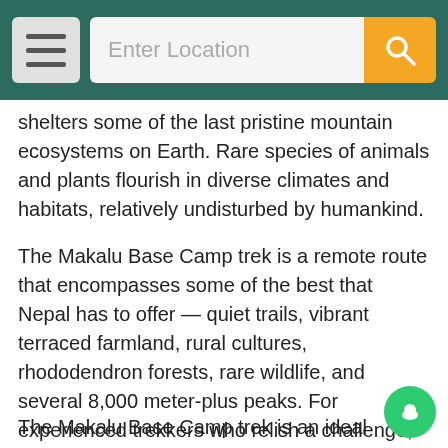Navigation bar with hamburger menu and search field 'Enter Location'
shelters some of the last pristine mountain ecosystems on Earth. Rare species of animals and plants flourish in diverse climates and habitats, relatively undisturbed by humankind.
The Makalu Base Camp trek is a remote route that encompasses some of the best that Nepal has to offer — quiet trails, vibrant terraced farmland, rural cultures, rhododendron forests, rare wildlife, and several 8,000 meter-plus peaks. For experienced trekkers who relish a challenge, this is a great trek with ample rewards.
The Makalu Base Camp trek is an ideal trek for nature-loving trekkers who want to experience a